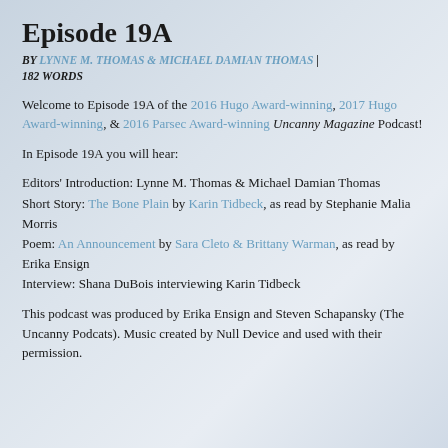Episode 19A
BY LYNNE M. THOMAS & MICHAEL DAMIAN THOMAS | 182 WORDS
Welcome to Episode 19A of the 2016 Hugo Award-winning, 2017 Hugo Award-winning, & 2016 Parsec Award-winning Uncanny Magazine Podcast!
In Episode 19A you will hear:
Editors' Introduction: Lynne M. Thomas & Michael Damian Thomas
Short Story: The Bone Plain by Karin Tidbeck, as read by Stephanie Malia Morris
Poem: An Announcement by Sara Cleto & Brittany Warman, as read by Erika Ensign
Interview: Shana DuBois interviewing Karin Tidbeck
This podcast was produced by Erika Ensign and Steven Schapansky (The Uncanny Podcats). Music created by Null Device and used with their permission.